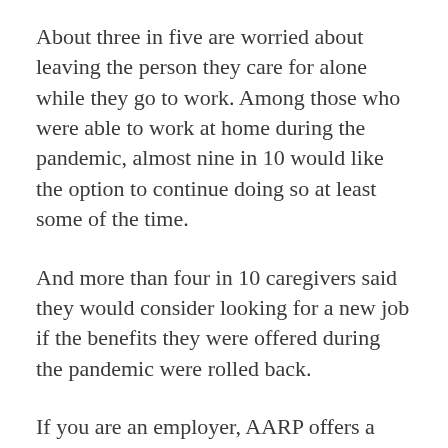About three in five are worried about leaving the person they care for alone while they go to work. Among those who were able to work at home during the pandemic, almost nine in 10 would like the option to continue doing so at least some of the time.
And more than four in 10 caregivers said they would consider looking for a new job if the benefits they were offered during the pandemic were rolled back.
If you are an employer, AARP offers a range of free tools and resources that can help you retain working caregivers, including tip sheets, tool kits and online training for managers. At the same time, if you are a working caregiver, share these resources with your employer at www.aarp.org/employercaregiving